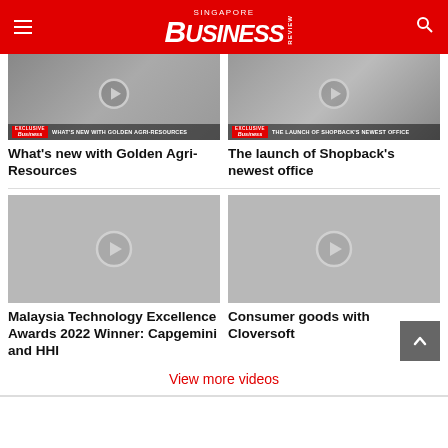Singapore Business Review
[Figure (screenshot): Video thumbnail: What's new with Golden Agri-Resources]
What's new with Golden Agri-Resources
[Figure (screenshot): Video thumbnail: The launch of Shopback's newest office]
The launch of Shopback's newest office
[Figure (screenshot): Video thumbnail placeholder for Malaysia Technology Excellence Awards 2022 Winner: Capgemini and HHI]
Malaysia Technology Excellence Awards 2022 Winner: Capgemini and HHI
[Figure (screenshot): Video thumbnail placeholder for Consumer goods with Cloversoft]
Consumer goods with Cloversoft
View more videos